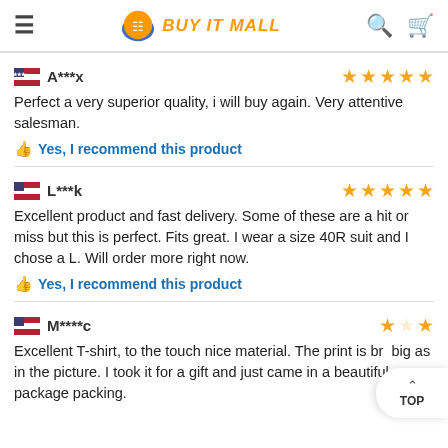BUY IT MALL
A***x — 5 stars
Perfect a very superior quality, i will buy again. Very attentive salesman.
👍 Yes, I recommend this product
L***k — 5 stars
Excellent product and fast delivery. Some of these are a hit or miss but this is perfect. Fits great. I wear a size 40R suit and I chose a L. Will order more right now.
👍 Yes, I recommend this product
M****c — stars
Excellent T-shirt, to the touch nice material. The print is br... big as in the picture. I took it for a gift and just came in a beautiful package packing.